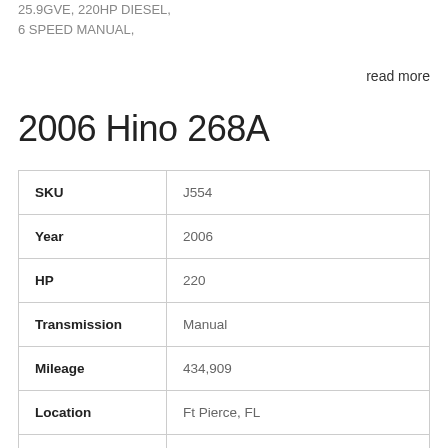25.9GVE, 220HP DIESEL, 6 SPEED MANUAL,
read more
2006 Hino 268A
|  |  |
| --- | --- |
| SKU | J554 |
| Year | 2006 |
| HP | 220 |
| Transmission | Manual |
| Mileage | 434,909 |
| Location | Ft Pierce, FL |
| Condition |  |